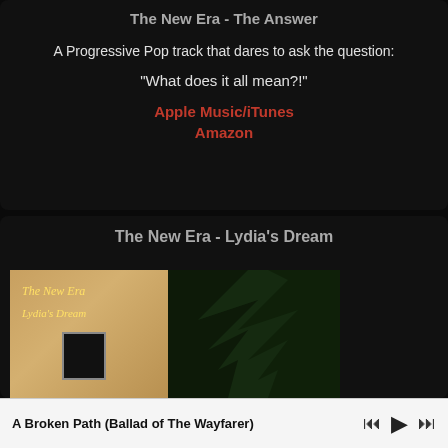The New Era - The Answer
A Progressive Pop track that dares to ask the question:
"What does it all mean?!"
Apple Music/iTunes
Amazon
The New Era - Lydia's Dream
[Figure (photo): Album cover image for 'The New Era - Lydia's Dream' showing an illuminated small house/booth with the album title written in yellow cursive text, set against a dark night background with trees]
A Broken Path (Ballad of The Wayfarer)